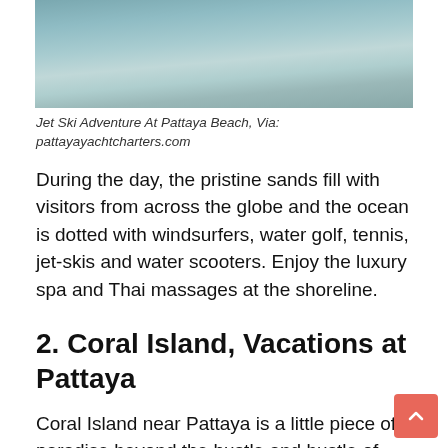[Figure (photo): Jet ski on water at Pattaya Beach, showing reflections on ocean surface]
Jet Ski Adventure At Pattaya Beach, Via: pattayayachtcharters.com
During the day, the pristine sands fill with visitors from across the globe and the ocean is dotted with windsurfers, water golf, tennis, jet-skis and water scooters. Enjoy the luxury spa and Thai massages at the shoreline.
2. Coral Island, Vacations at Pattaya
Coral Island near Pattaya is a little piece of paradise beyond the hustle and bustle of Pattaya. You can take an easy trip by boat from Pattaya seawall, which will take you to the striking beauty of the Coral